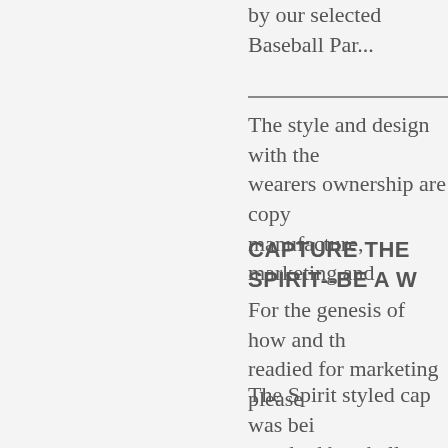by our selected Baseball Par...
The style and design with the wearers ownership are copy manufacture, marketing and
CAPTURE THE SPIRIT--BE A W
For the genesis of how and th readied for marketing please
The Spirit styled cap was bei standard baseball styled cap
The Caps will prove to be bot